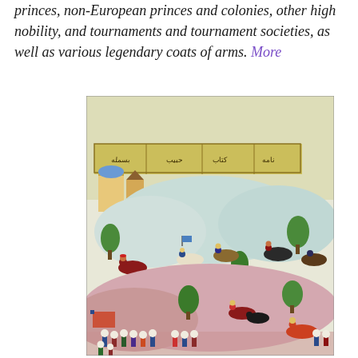princes, non-European princes and colonies, other high nobility, and tournaments and tournament societies, as well as various legendary coats of arms. More
[Figure (illustration): A Persian or Ottoman miniature painting depicting a battle or hunting scene with figures on horseback traversing hilly terrain. The scene shows multiple riders and soldiers in colorful robes (red, blue, orange) against light blue-green hills. In the upper portion there are buildings and a decorative banner with calligraphy. Trees and rocky outcroppings fill the landscape. Groups of foot soldiers with turbans appear in the lower section.]